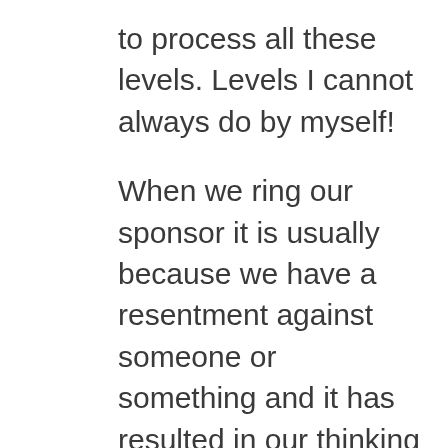to process all these levels. Levels I cannot always do by myself!
When we ring our sponsor it is usually because we have a resentment against someone or something and it has resulted in our thinking going awry. We are usually in emotional distress. When talking to our sponsor, we can often identify an emotion (level 3) or character defects like shame, pride or guilt.
We can explore what we actually feel and this can often be linked to other emotions and feelings we have had about related themes